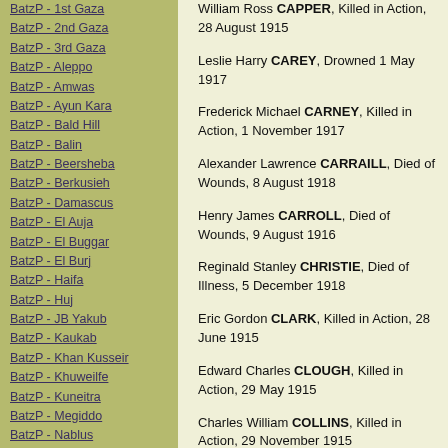BatzP - 1st Gaza
BatzP - 2nd Gaza
BatzP - 3rd Gaza
BatzP - Aleppo
BatzP - Amwas
BatzP - Ayun Kara
BatzP - Bald Hill
BatzP - Balin
BatzP - Beersheba
BatzP - Berkusieh
BatzP - Damascus
BatzP - El Auja
BatzP - El Buggar
BatzP - El Burj
BatzP - Haifa
BatzP - Huj
BatzP - JB Yakub
BatzP - Kaukab
BatzP - Khan Kusseir
BatzP - Khuweilfe
BatzP - Kuneitra
BatzP - Megiddo
BatzP - Nablus
BatzP - Rafa
BatzP - Sasa
BatzP - Semakh
BatzP - Sheria
BatzP - Surafend
William Ross CAPPER, Killed in Action, 28 August 1915
Leslie Harry CAREY, Drowned 1 May 1917
Frederick Michael CARNEY, Killed in Action, 1 November 1917
Alexander Lawrence CARRAILL, Died of Wounds, 8 August 1918
Henry James CARROLL, Died of Wounds, 9 August 1916
Reginald Stanley CHRISTIE, Died of Illness, 5 December 1918
Eric Gordon CLARK, Killed in Action, 28 June 1915
Edward Charles CLOUGH, Killed in Action, 29 May 1915
Charles William COLLINS, Killed in Action, 29 November 1915